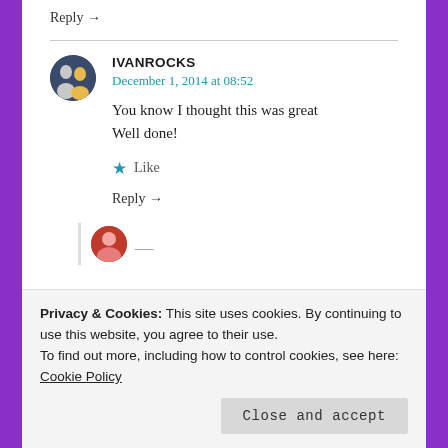Reply →
IVANROCKS
December 1, 2014 at 08:52

You know I thought this was great
Well done!

★ Like

Reply →
Privacy & Cookies: This site uses cookies. By continuing to use this website, you agree to their use.
To find out more, including how to control cookies, see here:
Cookie Policy
Close and accept